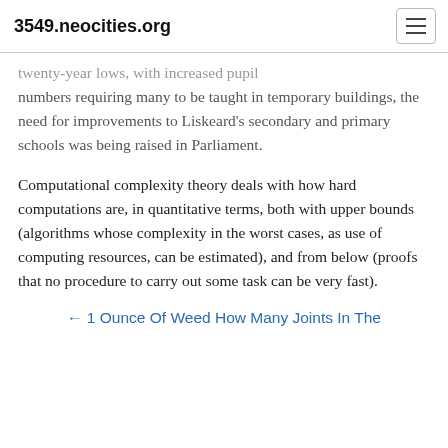3549.neocities.org
twenty-year lows, with increased pupil numbers requiring many to be taught in temporary buildings, the need for improvements to Liskeard's secondary and primary schools was being raised in Parliament.
Computational complexity theory deals with how hard computations are, in quantitative terms, both with upper bounds (algorithms whose complexity in the worst cases, as use of computing resources, can be estimated), and from below (proofs that no procedure to carry out some task can be very fast).
← 1 Ounce Of Weed How Many Joints In The